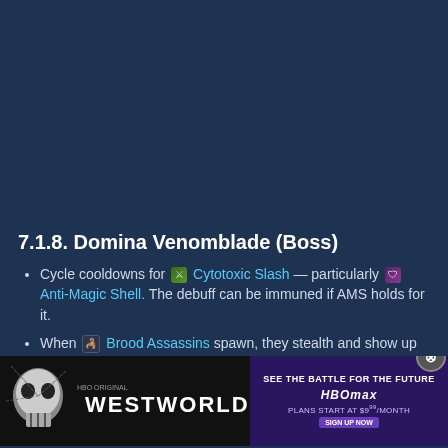7.1.8. Domina Venomblade (Boss)
Cycle cooldowns for 🗡 Cytotoxic Slash — particularly 🛡 Anti-Magic Shell. The debuff can be immuned if AMS holds for it.
When 🦂 Brood Assassins spawn, they stealth and show up as a large zone of 🕸 Shroudweb. While they are stealthed, they stack 🗡 Assassinate on random party members, and need to be unstealthed as quickly as possible. You can do this by... [ad overlay obscures remaining text]
[Figure (screenshot): Westworld HBO Max advertisement banner at bottom of page]